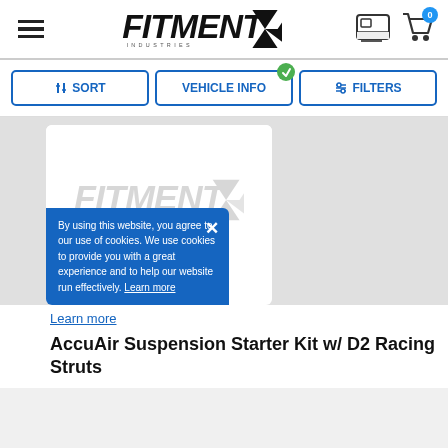Fitment Industries - Header navigation with hamburger menu, logo, gallery icon, and cart (0)
SORT | VEHICLE INFO | FILTERS
[Figure (logo): Fitment Industries logo in gray, placeholder product image area]
By using this website, you agree to our use of cookies. We use cookies to provide you with a great experience and to help our website run effectively. Learn more
Learn more
AccuAir Suspension Starter Kit w/ D2 Racing Struts